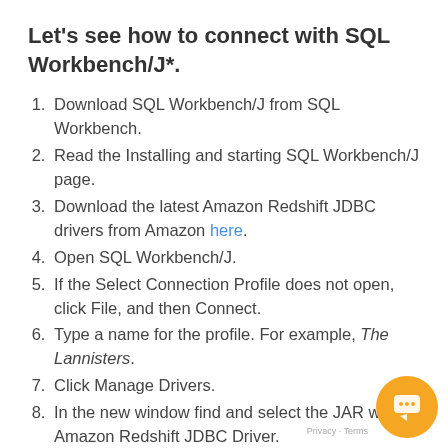Let's see how to connect with SQL Workbench/J*.
Download SQL Workbench/J from SQL Workbench.
Read the Installing and starting SQL Workbench/J page.
Download the latest Amazon Redshift JDBC drivers from Amazon here.
Open SQL Workbench/J.
If the Select Connection Profile does not open, click File, and then Connect.
Type a name for the profile. For example, The Lannisters.
Click Manage Drivers.
In the new window find and select the JAR with the Amazon Redshift JDBC Driver.
Click OK
For the rest of settings check the screenshot be…